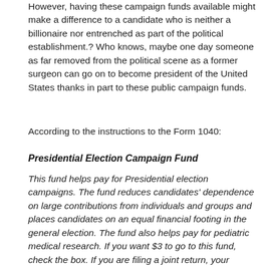However, having these campaign funds available might make a difference to a candidate who is neither a billionaire nor entrenched as part of the political establishment.? Who knows, maybe one day someone as far removed from the political scene as a former surgeon can go on to become president of the United States thanks in part to these public campaign funds.
According to the instructions to the Form 1040:
Presidential Election Campaign Fund
This fund helps pay for Presidential election campaigns. The fund reduces candidates' dependence on large contributions from individuals and groups and places candidates on an equal financial footing in the general election. The fund also helps pay for pediatric medical research. If you want $3 to go to this fund, check the box. If you are filing a joint return, your spouse can also